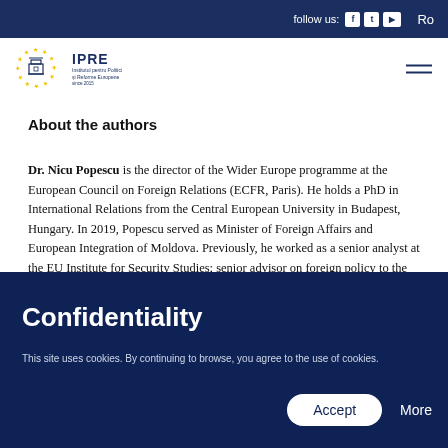follow us:   Ro
[Figure (logo): IPRE logo with EU stars and building icon]
About the authors
Dr. Nicu Popescu is the director of the Wider Europe programme at the European Council on Foreign Relations (ECFR, Paris). He holds a PhD in International Relations from the Central European University in Budapest, Hungary. In 2019, Popescu served as Minister of Foreign Affairs and European Integration of Moldova. Previously, he worked as a senior analyst at the EU Institute for Security Studies; senior advisor on foreign policy to the
Confidentiality
This site uses cookies. By continuing to browse, you agree to the use of cookies.